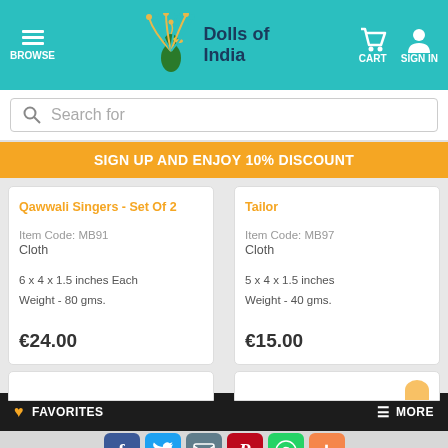Dolls of India - BROWSE | CART | SIGN IN
Search for
SIGN UP AND ENJOY 10% DISCOUNT
Qawwali Singers - Set Of 2
Item Code: MB91
Cloth
6 x 4 x 1.5 inches Each
Weight - 80 gms.
€24.00
Tailor
Item Code: MB97
Cloth
5 x 4 x 1.5 inches
Weight - 40 gms.
€15.00
FAVORITES | MORE